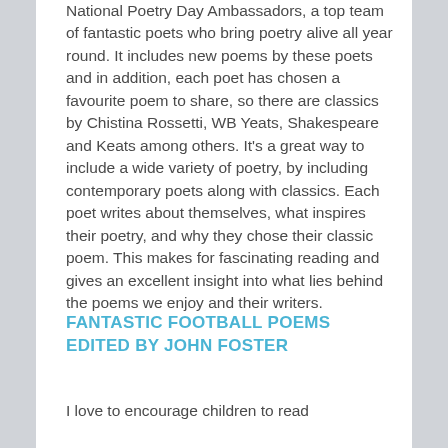National Poetry Day Ambassadors, a top team of fantastic poets who bring poetry alive all year round. It includes new poems by these poets and in addition, each poet has chosen a favourite poem to share, so there are classics by Chistina Rossetti, WB Yeats, Shakespeare and Keats among others. It's a great way to include a wide variety of poetry, by including contemporary poets along with classics. Each poet writes about themselves, what inspires their poetry, and why they chose their classic poem. This makes for fascinating reading and gives an excellent insight into what lies behind the poems we enjoy and their writers.
FANTASTIC FOOTBALL POEMS EDITED BY JOHN FOSTER
I love to encourage children to read